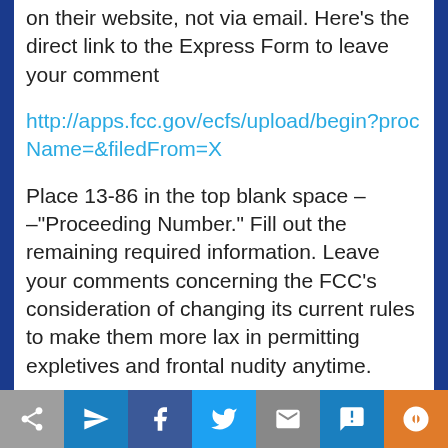on their website, not via email. Here's the direct link to the Express Form to leave your comment
http://apps.fcc.gov/ecfs/upload/begin?procName=&filedFrom=X
Place 13-86 in the top blank space –
–"Proceeding Number." Fill out the remaining required information. Leave your comments concerning the FCC's consideration of changing its current rules to make them more lax in permitting expletives and frontal nudity anytime.
NOTE: All information you leave – including